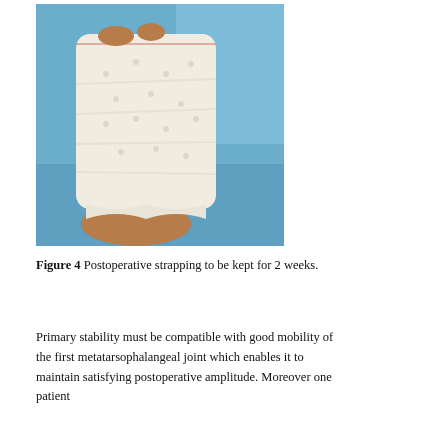[Figure (photo): Postoperative photograph of a foot with white strapping/bandaging applied, against a blue surgical drape background.]
Figure 4 Postoperative strapping to be kept for 2 weeks.
Primary stability must be compatible with good mobility of the first metatarsophalangeal joint which enables it to maintain satisfying postoperative amplitude. Moreover one patient